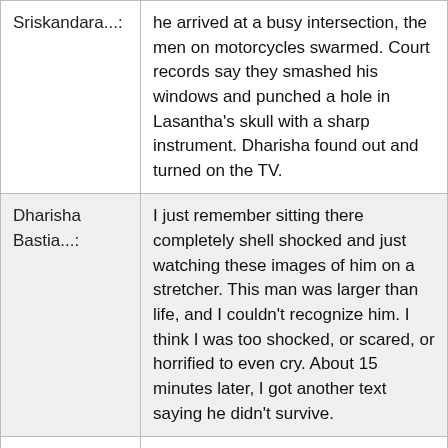| Speaker | Text |
| --- | --- |
| Sriskandara...: | he arrived at a busy intersection, the men on motorcycles swarmed. Court records say they smashed his windows and punched a hole in Lasantha's skull with a sharp instrument. Dharisha found out and turned on the TV. |
| Dharisha Bastia...: | I just remember sitting there completely shell shocked and just watching these images of him on a stretcher. This man was larger than life, and I couldn't recognize him. I think I was too shocked, or scared, or horrified to even cry. About 15 minutes later, I got another text saying he didn't survive. |
| Ike Sriskandara...: | Still, Lasantha managed to have the last word. In a posthumous essay that was reprinted around the world, he predicted his own death and named the people he thought would kill him. Here's Dharisha reading |